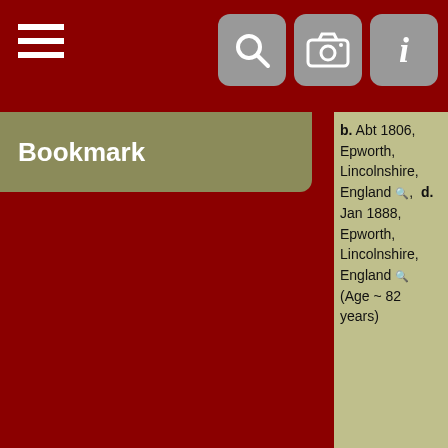Navigation bar with hamburger menu, search, camera, and info icons
Bookmark
b. Abt 1806, Epworth, Lincolnshire, England, d. Jan 1888, Epworth, Lincolnshire, England (Age ~ 82 years)
Mother
Elizabeth Read, b. Abt 1814, Epworth, Lincolnshire, England, d. Yes, date unknown